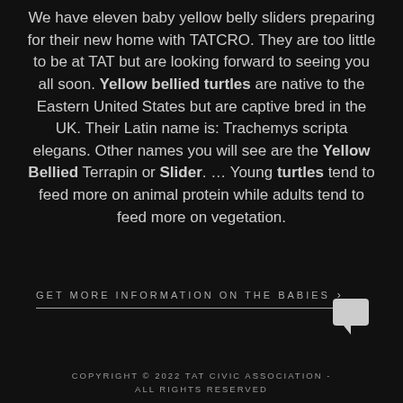We have eleven baby yellow belly sliders preparing for their new home with TATCRO. They are too little to be at TAT but are looking forward to seeing you all soon. Yellow bellied turtles are native to the Eastern United States but are captive bred in the UK. Their Latin name is: Trachemys scripta elegans. Other names you will see are the Yellow Bellied Terrapin or Slider. ... Young turtles tend to feed more on animal protein while adults tend to feed more on vegetation.
GET MORE INFORMATION ON THE BABIES >
[Figure (illustration): White chat/comment bubble icon]
COPYRIGHT © 2022 TAT CIVIC ASSOCIATION - ALL RIGHTS RESERVED